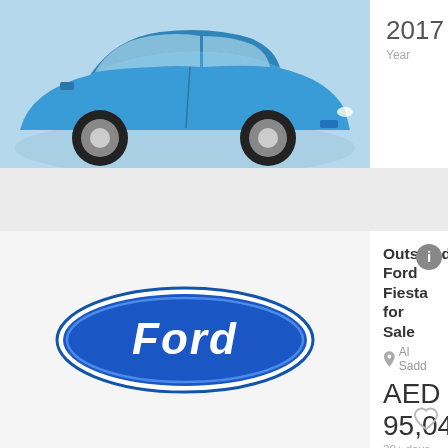[Figure (photo): Blue Ford Fiesta car photo cropped at top of listing card]
2017
Year
4
Doors
[Figure (logo): Ford oval logo in blue and white]
Outstanding Ford Fiesta for Sale
Al Sadd
AED 95,040
30+ days ago
View car >